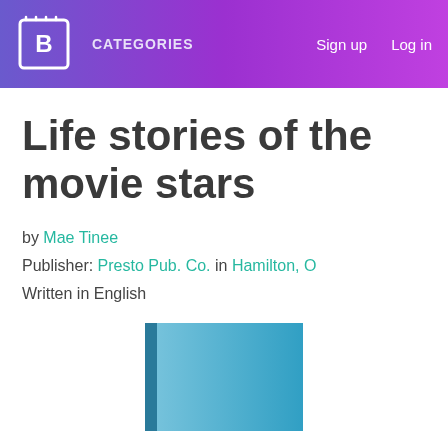CATEGORIES   Sign up   Log in
Life stories of the movie stars
by Mae Tinee
Publisher: Presto Pub. Co. in Hamilton, O
Written in English
[Figure (illustration): Book cover image showing a blue/teal hardcover book]